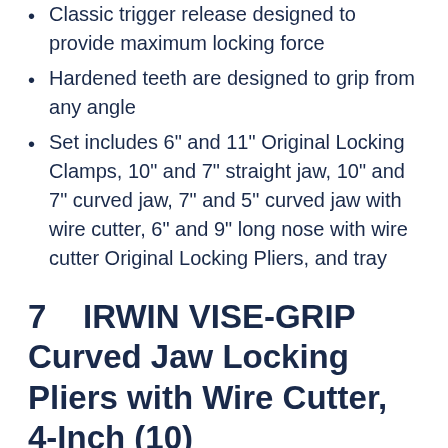Classic trigger release designed to provide maximum locking force
Hardened teeth are designed to grip from any angle
Set includes 6" and 11" Original Locking Clamps, 10" and 7" straight jaw, 10" and 7" curved jaw, 7" and 5" curved jaw with wire cutter, 6" and 9" long nose with wire cutter Original Locking Pliers, and tray
7   IRWIN VISE-GRIP Curved Jaw Locking Pliers with Wire Cutter, 4-Inch (10)
[Figure (other): Product image box with number badge showing '7']